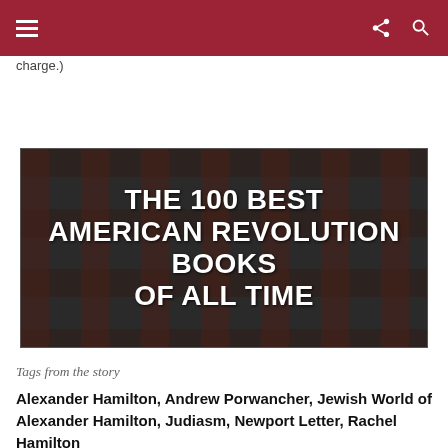charge.)
[Figure (illustration): Banner image with dark background showing book covers, with large bold white text reading: THE 100 BEST AMERICAN REVOLUTION BOOKS OF ALL TIME]
Tags from the story
Alexander Hamilton, Andrew Porwancher, Jewish World of Alexander Hamilton, Judiasm, Newport Letter, Rachel Hamilton